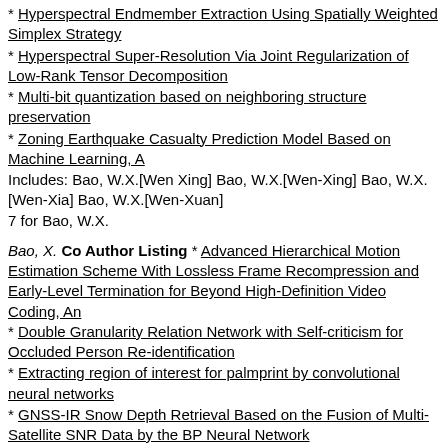* Hyperspectral Endmember Extraction Using Spatially Weighted Simplex Strategy
* Hyperspectral Super-Resolution Via Joint Regularization of Low-Rank Tensor Decomposition
* Multi-bit quantization based on neighboring structure preservation
* Zoning Earthquake Casualty Prediction Model Based on Machine Learning, A
Includes: Bao, W.X.[Wen Xing] Bao, W.X.[Wen-Xing] Bao, W.X.[Wen-Xia] Bao, W.X.[Wen-Xuan]
7 for Bao, W.X.
Bao, X. Co Author Listing * Advanced Hierarchical Motion Estimation Scheme With Lossless Frame Recompression and Early-Level Termination for Beyond High-Definition Video Coding, An
* Double Granularity Relation Network with Self-criticism for Occluded Person Re-identification
* Extracting region of interest for palmprint by convolutional neural networks
* GNSS-IR Snow Depth Retrieval Based on the Fusion of Multi-Satellite SNR Data by the BP Neural Network
* Graph-based multi-space semantic correlation propagation for video retrieval
* Ground Deformation Pattern Analysis and Evolution